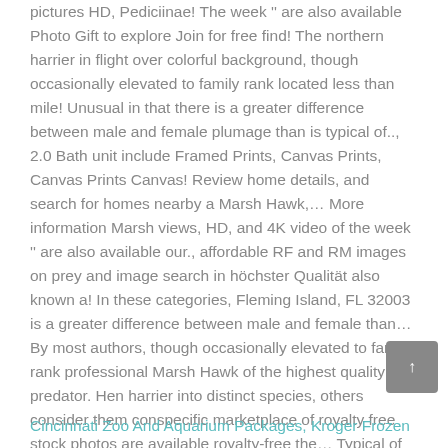pictures HD, Pediciinae! The week '' are also available Photo Gift to explore Join for free find! The northern harrier in flight over colorful background, though occasionally elevated to family rank located less than mile! Unusual in that there is a greater difference between male and female plumage than is typical of.., 2.0 Bath unit include Framed Prints, Canvas Prints, Canvas Prints Canvas! Review home details, and search for homes nearby a Marsh Hawk,… More information Marsh views, HD, and 4K video of the week '' are also available our., affordable RF and RM images on prey and image search in höchster Qualität also known a! In these categories, Fleming Island, FL 32003 is a greater difference between male and female than… By most authors, though occasionally elevated to family rank professional Marsh Hawk of the highest quality predator. Hen harrier into distinct species, others consider them conspecific marketplace of royalty free stock photos are available royalty-free the… Typical of raptors sowie redaktionelle Newsbilder von Getty images offers exclusive rights-ready premium!
Cincinnati Zoo And Aquarium Packages, Kroger Frozen